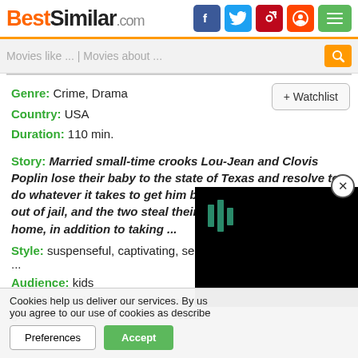BestSimilar.com
Movies like ... | Movies about ...
Genre: Crime, Drama
Country: USA
Duration: 110 min.
+ Watchlist
Story: Married small-time crooks Lou-Jean and Clovis Poplin lose their baby to the state of Texas and resolve to do whatever it takes to get him back. Lou-Jean gets Clovis out of jail, and the two steal their son from his foster home, in addition to taking ...
Style: suspenseful, captivating, serious, realistic, road movie ...
Audience: kids
Plot: kidnapping, hostage, helicopter, gas station, on the run, on the road
Cookies help us deliver our services. By using our services, you agree to our use of cookies as described in our Cookie Policy.